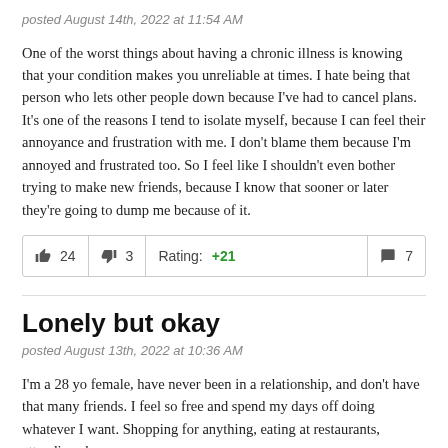posted August 14th, 2022 at 11:54 AM
One of the worst things about having a chronic illness is knowing that your condition makes you unreliable at times. I hate being that person who lets other people down because I've had to cancel plans. It's one of the reasons I tend to isolate myself, because I can feel their annoyance and frustration with me. I don't blame them because I'm annoyed and frustrated too. So I feel like I shouldn't even bother trying to make new friends, because I know that sooner or later they're going to dump me because of it.
| 👍 24 | 👎 3 | Rating: +21 | 💬 7 |
| --- | --- | --- | --- |
Lonely but okay
posted August 13th, 2022 at 10:36 AM
I'm a 28 yo female, have never been in a relationship, and don't have that many friends. I feel so free and spend my days off doing whatever I want. Shopping for anything, eating at restaurants, attending shows...